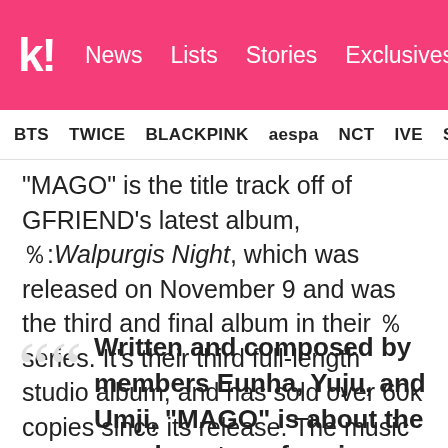k! News Lists Stories Exclusives
BTS  TWICE  BLACKPINK  aespa  NCT  IVE  SHINee
“MAGO” is the title track off of GFRIEND’s latest album, Ｚ:Walpurgis Night, which was released on November 9 and was the third and final album in their Ｚ series. It’s their third full-length studio album, and has sold over 60k copies since its release. The music video for “MAGO” also has over 31 million views.
Written and composed by members Eunha, Yuju, and Umji, “MAGO” is about the members transforming into confident witches who prioritize their own opinions of themselves over what